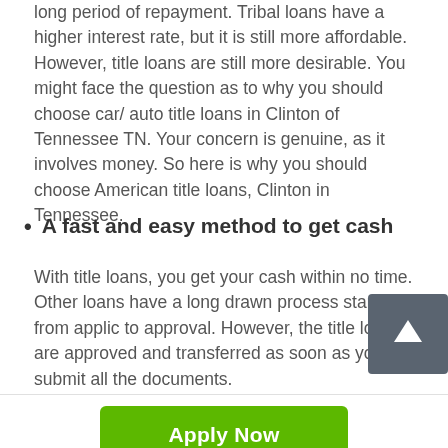long period of repayment. Tribal loans have a higher interest rate, but it is still more affordable. However, title loans are still more desirable. You might face the question as to why you should choose car/ auto title loans in Clinton of Tennessee TN. Your concern is genuine, as it involves money. So here is why you should choose American title loans, Clinton in Tennessee.
A fast and easy method to get cash
With title loans, you get your cash within no time. Other loans have a long drawn process starting from applic to approval. However, the title loans are approved and transferred as soon as you submit all the documents.
[Figure (other): Scroll-to-top button with upward arrow on dark grey background]
[Figure (other): Green Apply Now button]
Applying does NOT affect your credit score!
No credit check to apply.